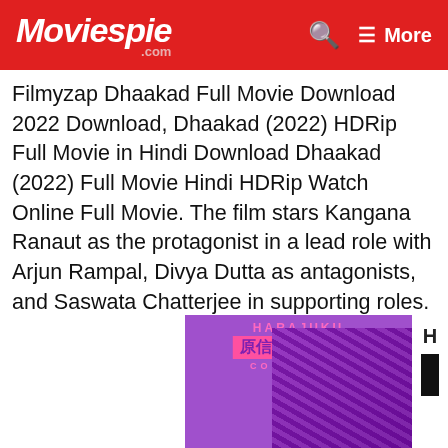Moviespie.com — More
Filmyzap Dhaakad Full Movie Download 2022 Download, Dhaakad (2022) HDRip Full Movie in Hindi Download Dhaakad (2022) Full Movie Hindi HDRip Watch Online Full Movie. The film stars Kangana Ranaut as the protagonist in a lead role with Arjun Rampal, Divya Dutta as antagonists, and Saswata Chatterjee in supporting roles.
In this post, I am going to tell y... Dhaakad. You will also g...
[Figure (advertisement): Harajuku Collective advertisement banner with purple background, two female figures in cosplay outfits, and pink Japanese text/kanji logo]
[Figure (screenshot): Ad overlay popup with black background showing 'Ads by eRG' badge and close button (x)]